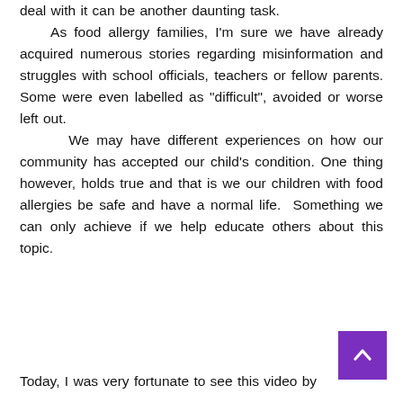deal with it can be another daunting task. As food allergy families, I'm sure we have already acquired numerous stories regarding misinformation and struggles with school officials, teachers or fellow parents. Some were even labelled as "difficult", avoided or worse left out. We may have different experiences on how our community has accepted our child's condition. One thing however, holds true and that is we our children with food allergies be safe and have a normal life.  Something we can only achieve if we help educate others about this topic.
Today, I was very fortunate to see this video by